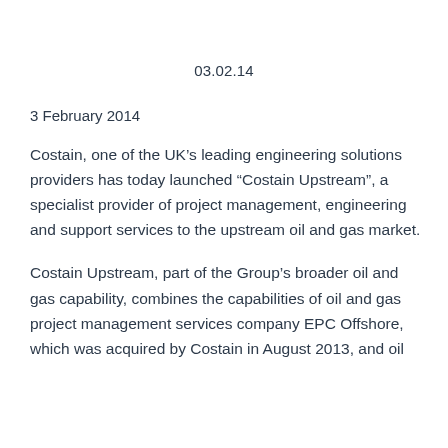03.02.14
3 February 2014
Costain, one of the UK’s leading engineering solutions providers has today launched “Costain Upstream”, a specialist provider of project management, engineering and support services to the upstream oil and gas market.
Costain Upstream, part of the Group’s broader oil and gas capability, combines the capabilities of oil and gas project management services company EPC Offshore, which was acquired by Costain in August 2013, and oil